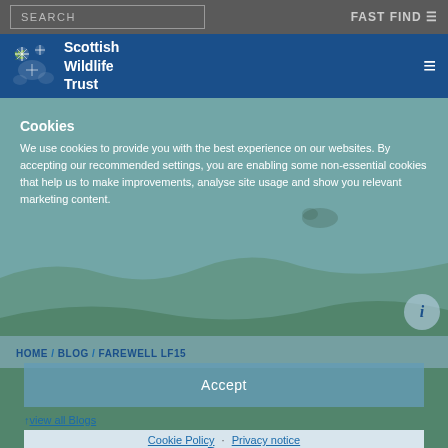SEARCH | FAST FIND
[Figure (logo): Scottish Wildlife Trust logo with white tree/wildlife emblem and text]
[Figure (photo): Background nature/wildlife photo with blue-green tones]
Cookies
We use cookies to provide you with the best experience on our websites. By accepting our recommended settings, you are enabling some non-essential cookies that help us to make improvements, analyse site usage and show you relevant marketing content.
Accept
HOME / BLOG / FAREWELL LF15
↑view all Blogs
Deny
Farewell LF15
Preferences
Cookie Policy   Privacy notice